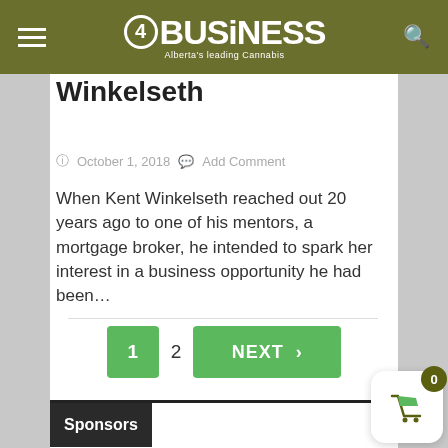4BUSiNESS — Alberta's leading Cannabis
Winkelseth
October 1, 2018   Add Comment
When Kent Winkelseth reached out 20 years ago to one of his mentors, a mortgage broker, he intended to spark her interest in a business opportunity he had been...
1  2  NEXT >
Sponsors